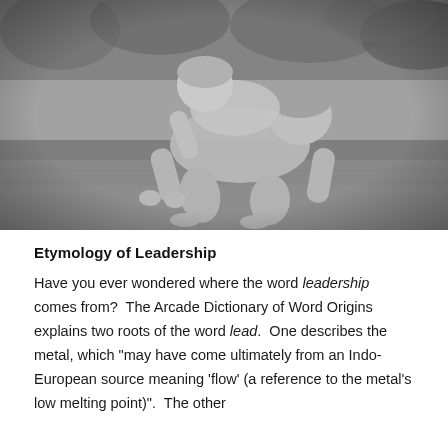[Figure (photo): Black and white photograph of two children playing on grass. One child is on all fours while the other appears to be climbing on top of them, both leaning forward.]
Etymology of Leadership
Have you ever wondered where the word leadership comes from?  The Arcade Dictionary of Word Origins explains two roots of the word lead.  One describes the metal, which "may have come ultimately from an Indo-European source meaning 'flow' (a reference to the metal's low melting point)".  The other